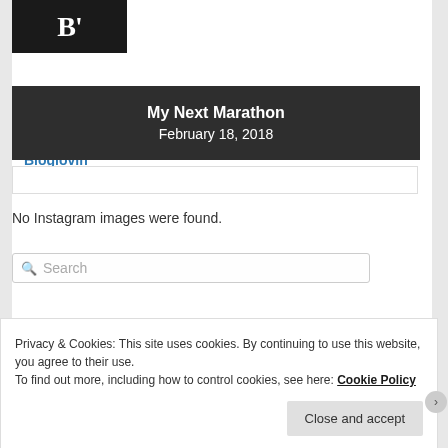[Figure (logo): Bloglovin logo: black square with white bold B' text]
Follow Me on Bloglovin'
My Next Marathon
February 18, 2018
No Instagram images were found.
Search
Privacy & Cookies: This site uses cookies. By continuing to use this website, you agree to their use.
To find out more, including how to control cookies, see here: Cookie Policy
Close and accept